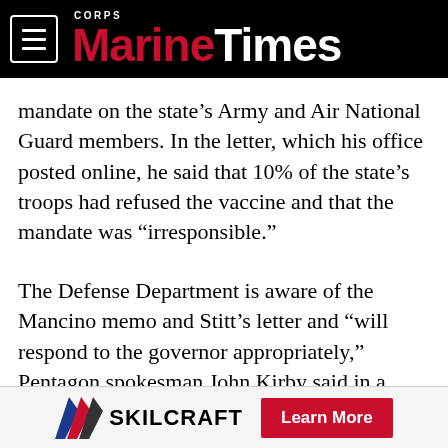Marine Corps Times
mandate on the state's Army and Air National Guard members. In the letter, which his office posted online, he said that 10% of the state's troops had refused the vaccine and that the mandate was “irresponsible.”
The Defense Department is aware of the Mancino memo and Stitt’s letter and “will respond to the governor appropriately,” Pentagon spokesman John Kirby said in a statement.
He did not elaborate.
[Figure (logo): SKILCRAFT logo with chevron graphic and a red Learn More button advertisement]